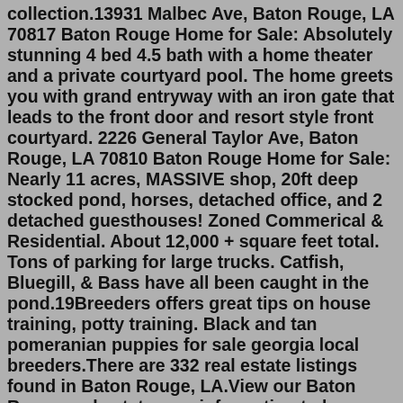collection.13931 Malbec Ave, Baton Rouge, LA 70817 Baton Rouge Home for Sale: Absolutely stunning 4 bed 4.5 bath with a home theater and a private courtyard pool. The home greets you with grand entryway with an iron gate that leads to the front door and resort style front courtyard. 2226 General Taylor Ave, Baton Rouge, LA 70810 Baton Rouge Home for Sale: Nearly 11 acres, MASSIVE shop, 20ft deep stocked pond, horses, detached office, and 2 detached guesthouses! Zoned Commerical & Residential. About 12,000 + square feet total. Tons of parking for large trucks. Catfish, Bluegill, & Bass have all been caught in the pond.19Breeders offers great tips on house training, potty training. Black and tan pomeranian puppies for sale georgia local breeders.There are 332 real estate listings found in Baton Rouge, LA.View our Baton Rouge real estate area information to learn about the weather, local school districts, demographic data, and general information about Baton Rouge, LA. Get in touch with a Baton Rouge real estate agent who can help